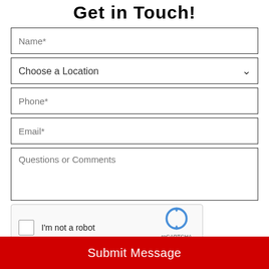Get in Touch!
Name*
Choose a Location
Phone*
Email*
Questions or Comments
[Figure (other): reCAPTCHA widget with checkbox labeled 'I'm not a robot', reCAPTCHA logo, and Privacy/Terms links]
Submit Message